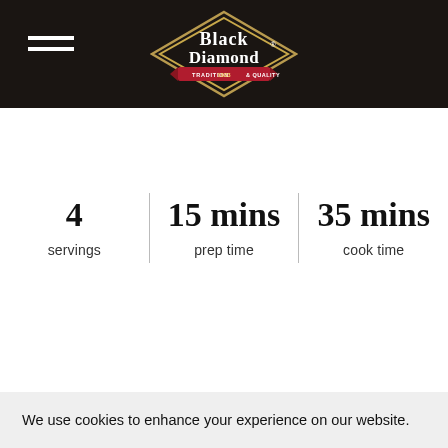[Figure (logo): Black Diamond cheese brand logo — diamond-shaped black badge with white text 'Black Diamond', gold trim, and red banner reading 'TRADITION 1933 & QUALITY']
4
servings
15 mins
prep time
35 mins
cook time
We use cookies to enhance your experience on our website.